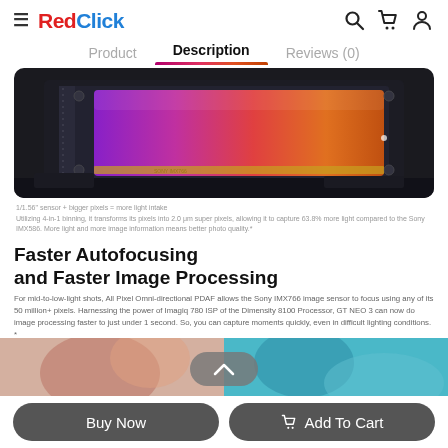RedClick — navigation header with hamburger menu, logo, search, cart, and user icons
Product   Description   Reviews (0)
[Figure (photo): Close-up photo of a camera image sensor (Sony IMX766) with a colorful gradient surface — showing purple, pink, orange, and red hues — mounted in a dark metallic housing.]
1/1.56" sensor + bigger pixels = more light intake
Utilizing 4-in-1 binning, it transforms its pixels into 2.0 μm super pixels, allowing it to capture 63.8% more light compared to the Sony IMX586. More light and more image information means better photo quality.*
Faster Autofocusing and Faster Image Processing
For mid-to-low-light shots, All Pixel Omni-directional PDAF allows the Sony IMX766 image sensor to focus using any of its 50 million+ pixels. Harnessing the power of Imagiq 780 ISP of the Dimensity 8100 Processor, GT NEO 3 can now do image processing faster to just under 1 second. So, you can capture moments quickly, even in difficult lighting conditions. *
[Figure (photo): Partial view of product images at the bottom of the page — left side shows warm-toned (orange/skin) color, right side shows a teal/cyan colored image, partially obscured by buttons.]
Buy Now
Add To Cart